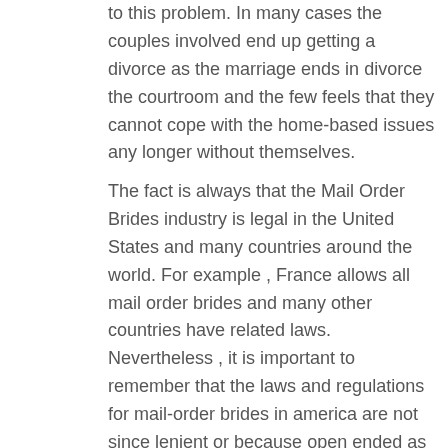to this problem. In many cases the couples involved end up getting a divorce as the marriage ends in divorce the courtroom and the few feels that they cannot cope with the home-based issues any longer without themselves.
The fact is always that the Mail Order Brides industry is legal in the United States and many countries around the world. For example , France allows all mail order brides and many other countries have related laws. Nevertheless , it is important to remember that the laws and regulations for mail-order brides in america are not since lenient or because open ended as the laws in other countries. It is recommended that any person considering the chance of being betrothed to a mail-order bride first of all does a lot of research in to the laws and cons in america before making any final decisions.